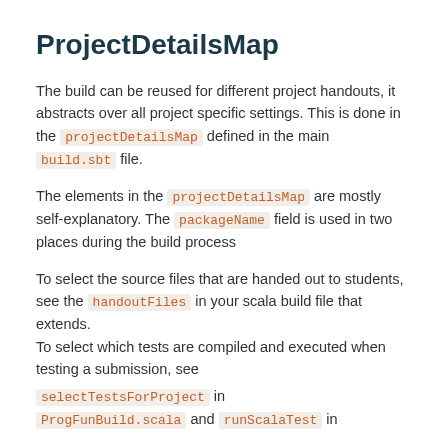ProjectDetailsMap
The build can be reused for different project handouts, it abstracts over all project specific settings. This is done in the projectDetailsMap defined in the main build.sbt file.
The elements in the projectDetailsMap are mostly self-explanatory. The packageName field is used in two places during the build process
To select the source files that are handed out to students, see the handoutFiles in your scala build file that extends.
To select which tests are compiled and executed when testing a submission, see
selectTestsForProject in
ProgFunBuild.scala and runScalaTest in